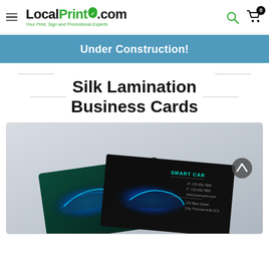LocalPrint.com — Your Print, Sign and Promotional Experts
Under Construction!
Silk Lamination Business Cards
[Figure (photo): Product photo showing silk lamination business cards — dark teal and black cards with blue glowing car imagery and 'SMART CAR' branding, displayed on a grey gradient background with a scroll-up button.]